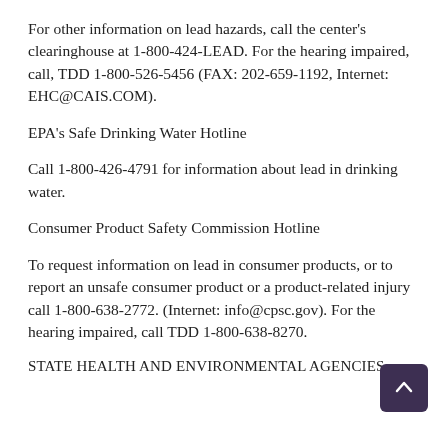For other information on lead hazards, call the center's clearinghouse at 1-800-424-LEAD. For the hearing impaired, call, TDD 1-800-526-5456 (FAX: 202-659-1192, Internet: EHC@CAIS.COM).
EPA's Safe Drinking Water Hotline
Call 1-800-426-4791 for information about lead in drinking water.
Consumer Product Safety Commission Hotline
To request information on lead in consumer products, or to report an unsafe consumer product or a product-related injury call 1-800-638-2772. (Internet: info@cpsc.gov). For the hearing impaired, call TDD 1-800-638-8270.
STATE HEALTH AND ENVIRONMENTAL AGENCIES